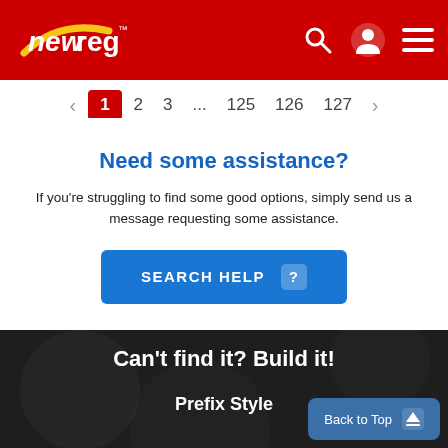[Figure (logo): newreg logo on red header bar with search, account, and menu icons]
< 1 2 3 ... 125 126 127 >
Need some assistance?
If you're struggling to find some good options, simply send us a message requesting some assistance.
SEARCH HELP
Can't find it? Build it!
Prefix Style